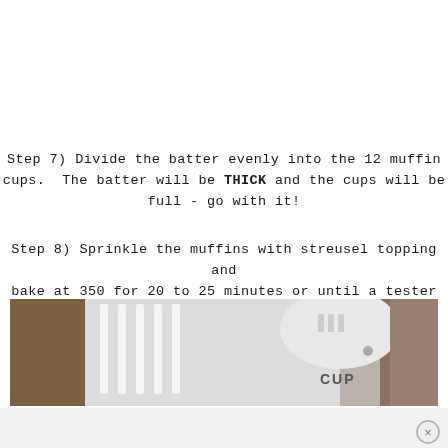Step 7) Divide the batter evenly into the 12 muffin cups.  The batter will be THICK and the cups will be full - go with it!
Step 8) Sprinkle the muffins with streusel topping and bake at 350 for 20 to 25 minutes or until a tester comes out clean.
[Figure (photo): Close-up photo of a white measuring cup with 'CUP' text visible, surrounded by a white ridged structure, with brown granular material (streusel) visible in background]
[Figure (photo): Bottom portion of page showing a blurred white background photo with a circular close/dismiss button (X) in the lower right]